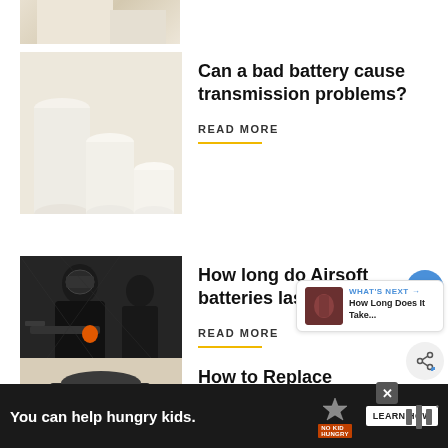[Figure (photo): Cropped top of white cylinder shapes on beige background - partial view]
[Figure (photo): White cylindrical podiums/pedestals on beige background]
Can a bad battery cause transmission problems?
READ MORE
[Figure (photo): Airsoft players in tactical gear with masks and guns]
How long do Airsoft batteries last?
READ MORE
[Figure (photo): What's Next thumbnail - small dark image]
WHAT'S NEXT → How Long Does It Take...
[Figure (photo): Thermostat battery replacement - cylindrical battery on beige surface]
How to Replace Thermostat Batteries?
You can help hungry kids. NO KID HUNGRY LEARN HOW